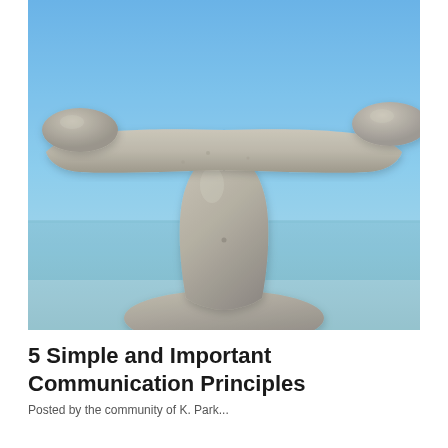[Figure (photo): Balanced stacked stones (pebbles) arranged like a scale or seesaw against a blue sky and water background. A long flat stone balances horizontally on top of a tall teardrop-shaped stone, with smaller rounded stones on each end, all resting on a larger stone at the bottom.]
5 Simple and Important Communication Principles
Posted by the community of K. Park...